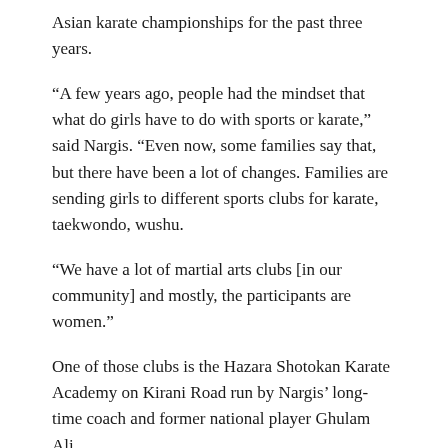Asian karate championships for the past three years.
“A few years ago, people had the mindset that what do girls have to do with sports or karate,” said Nargis. “Even now, some families say that, but there have been a lot of changes. Families are sending girls to different sports clubs for karate, taekwondo, wushu.
“We have a lot of martial arts clubs [in our community] and mostly, the participants are women.”
One of those clubs is the Hazara Shotokan Karate Academy on Kirani Road run by Nargis’ long-time coach and former national player Ghulam Ali.
The 2004 South Asian Games (SAF) gold-medallist, Ali, said he has noticed women from his community, making strides not only in sports, but other fields as well.